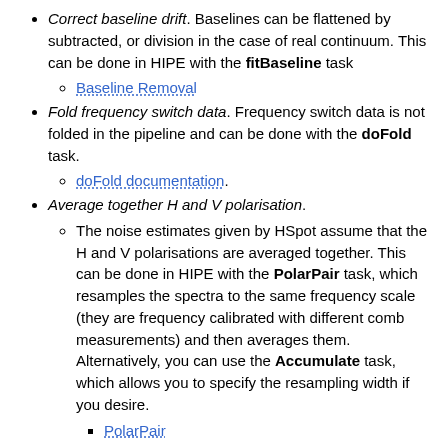Correct baseline drift. Baselines can be flattened by subtracted, or division in the case of real continuum. This can be done in HIPE with the fitBaseline task
Baseline Removal (link)
Fold frequency switch data. Frequency switch data is not folded in the pipeline and can be done with the doFold task.
doFold documentation. (link)
Average together H and V polarisation.
The noise estimates given by HSpot assume that the H and V polarisations are averaged together. This can be done in HIPE with the PolarPair task, which resamples the spectra to the same frequency scale (they are frequency calibrated with different comb measurements) and then averages them. Alternatively, you can use the Accumulate task, which allows you to specify the resampling width if you desire.
PolarPair (link)
Accumulate (link)
Note that differences can be minimised by V...